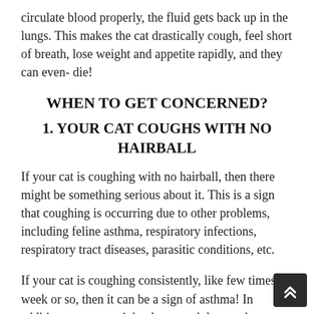circulate blood properly, the fluid gets back up in the lungs. This makes the cat drastically cough, feel short of breath, lose weight and appetite rapidly, and they can even- die!
WHEN TO GET CONCERNED?
1. YOUR CAT COUGHS WITH NO HAIRBALL
If your cat is coughing with no hairball, then there might be something serious about it. This is a sign that coughing is occurring due to other problems, including feline asthma, respiratory infections, respiratory tract diseases, parasitic conditions, etc.
If your cat is coughing consistently, like few times a week or so, then it can be a sign of asthma! In addition, your cat might also crouch low to the